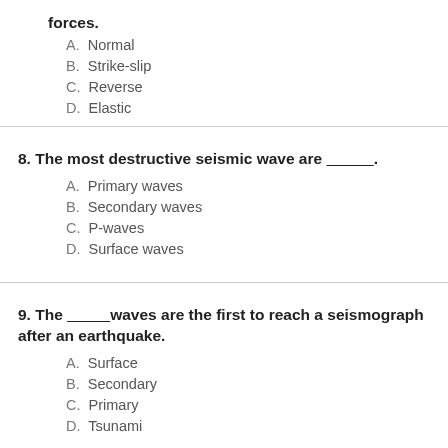forces.
A. Normal
B. Strike-slip
C. Reverse
D. Elastic
8. The most destructive seismic wave are ___________.
A. Primary waves
B. Secondary waves
C. P-waves
D. Surface waves
9. The ___________waves are the first to reach a seismograph after an earthquake.
A. Surface
B. Secondary
C. Primary
D. Tsunami